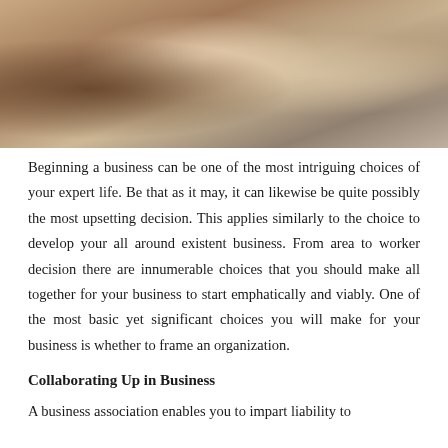[Figure (photo): A group of people shaking hands, business partners or colleagues greeting each other. Warm tones with beige, brown, and tan clothing visible. Shot from above and close up showing handshakes.]
Beginning a business can be one of the most intriguing choices of your expert life. Be that as it may, it can likewise be quite possibly the most upsetting decision. This applies similarly to the choice to develop your all around existent business. From area to worker decision there are innumerable choices that you should make all together for your business to start emphatically and viably. One of the most basic yet significant choices you will make for your business is whether to frame an organization.
Collaborating Up in Business
A business association enables you to impart liability to